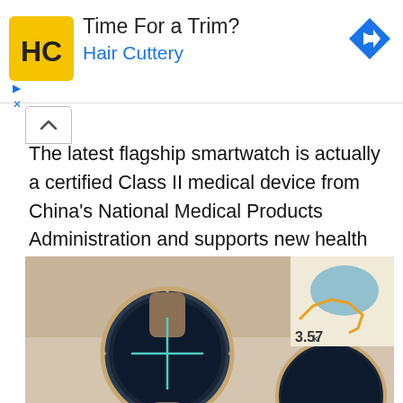[Figure (illustration): Hair Cuttery advertisement banner with yellow HC logo, 'Time For a Trim?' headline, 'Hair Cuttery' in blue, and a blue diamond-shaped arrow icon on the right. Small play and X controls bottom-left.]
The latest flagship smartwatch is actually a certified Class II medical device from China's National Medical Products Administration and supports new health features such as the ECG function and TruSeen 5.0+ data monitoring technology, allowing for accurate heart measurement and blood oxygen monitoring.
[Figure (photo): Photo of two smartwatches (likely Huawei) on a surface with a map showing route distance 3.57 visible in background.]